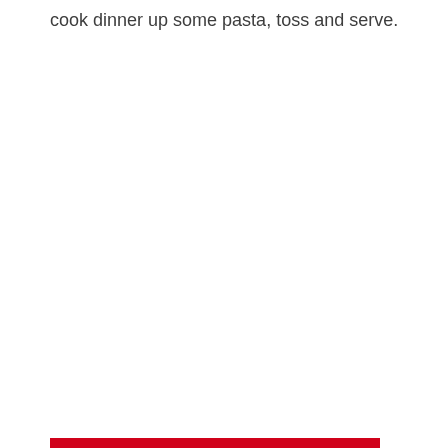cook dinner up some pasta, toss and serve.